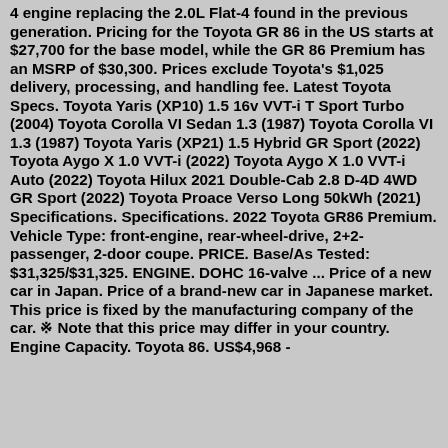4 engine replacing the 2.0L Flat-4 found in the previous generation. Pricing for the Toyota GR 86 in the US starts at $27,700 for the base model, while the GR 86 Premium has an MSRP of $30,300. Prices exclude Toyota's $1,025 delivery, processing, and handling fee. Latest Toyota Specs. Toyota Yaris (XP10) 1.5 16v VVT-i T Sport Turbo (2004) Toyota Corolla VI Sedan 1.3 (1987) Toyota Corolla VI 1.3 (1987) Toyota Yaris (XP21) 1.5 Hybrid GR Sport (2022) Toyota Aygo X 1.0 VVT-i (2022) Toyota Aygo X 1.0 VVT-i Auto (2022) Toyota Hilux 2021 Double-Cab 2.8 D-4D 4WD GR Sport (2022) Toyota Proace Verso Long 50kWh (2021) Specifications. Specifications. 2022 Toyota GR86 Premium. Vehicle Type: front-engine, rear-wheel-drive, 2+2-passenger, 2-door coupe. PRICE. Base/As Tested: $31,325/$31,325. ENGINE. DOHC 16-valve ... Price of a new car in Japan. Price of a brand-new car in Japanese market. This price is fixed by the manufacturing company of the car. ※ Note that this price may differ in your country. Engine Capacity. Toyota 86. US$4,968 -